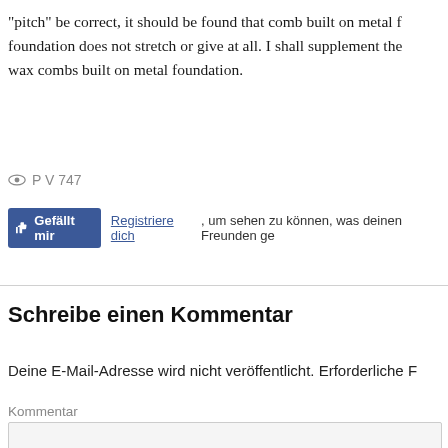“pitch” be correct, it should be found that comb built on metal foundation does not stretch or give at all. I shall supplement the wax combs built on metal foundation.
P V 747
[Figure (screenshot): Facebook 'Gefällt mir' (Like) button in blue, followed by text: 'Registriere dich, um sehen zu können, was deinen Freunden ge...']
Schreibe einen Kommentar
Deine E-Mail-Adresse wird nicht veröffentlicht. Erforderliche F...
Kommentar